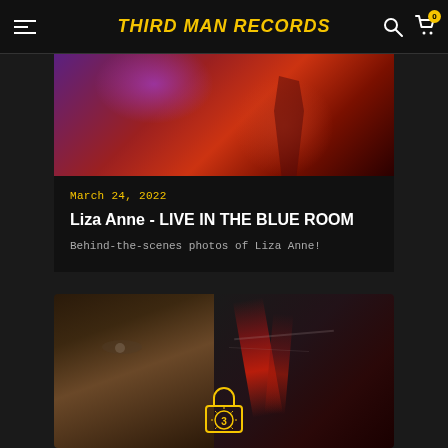THIRD MAN RECORDS
[Figure (photo): Concert photo with purple and red stage lighting, artist silhouette visible]
March 24, 2022
Liza Anne - LIVE IN THE BLUE ROOM
Behind-the-scenes photos of Liza Anne!
[Figure (photo): Close-up photo of a man's face on left half, dark abstract red streaks on right half, with a Third Man Records vault logo overlay at bottom center]